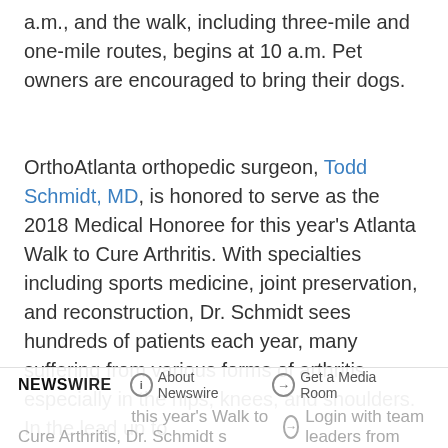a.m., and the walk, including three-mile and one-mile routes, begins at 10 a.m. Pet owners are encouraged to bring their dogs.
OrthoAtlanta orthopedic surgeon, Todd Schmidt, MD, is honored to serve as the 2018 Medical Honoree for this year's Atlanta Walk to Cure Arthritis. With specialties including sports medicine, joint preservation, and reconstruction, Dr. Schmidt sees hundreds of patients each year, many suffering from various forms of arthritis, especially in the hips, knees, and shoulders. In the lead up to this year's Walk to Cure Arthritis, Dr. Schmidt spoke with team leaders from
NEWSWIRE  ⓘ About Newswire  ➔ Get a Media Room  ➔ Login